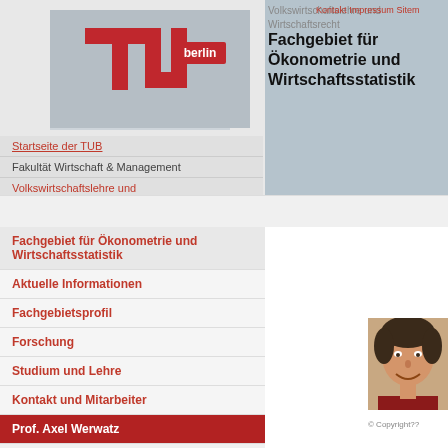[Figure (logo): TU Berlin logo — red stylized letters TU with 'berlin' text on gray background]
Volkswirtschaftslehre und Wirtschaftsrecht | Kontakt | Impressum | Sitem...
Fachgebiet für Ökonometrie und Wirtschaftsstatistik
Startseite der TUB
Fakultät Wirtschaft & Management
Volkswirtschaftslehre und Wirtschaftsrecht
Fachgebiet für Ökonometrie und Wirtschaftsstatistik
Aktuelle Informationen
Fachgebietsprofil
Forschung
Studium und Lehre
Kontakt und Mitarbeiter
Prof. Axel Werwatz
Hochschuldozentin
Prof. Axel Werwatz
Anschrift:
Prof. Axel Werwatz
Technische Universität Berlin
Fakultät VII -
Wirtschaft
und Management
Institut für
[Figure (photo): Portrait photo of Prof. Axel Werwatz, smiling man with curly dark hair]
© Copyright??